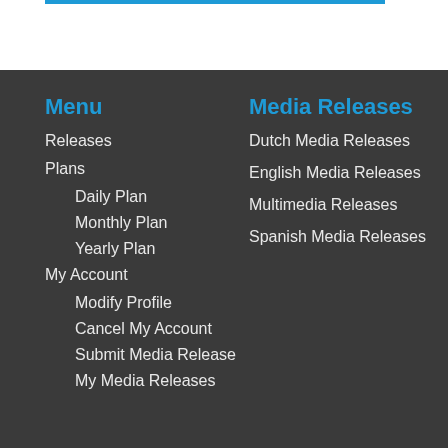Menu
Releases
Plans
Daily Plan
Monthly Plan
Yearly Plan
My Account
Modify Profile
Cancel My Account
Submit Media Release
My Media Releases
Media Releases
Dutch Media Releases
English Media Releases
Multimedia Releases
Spanish Media Releases